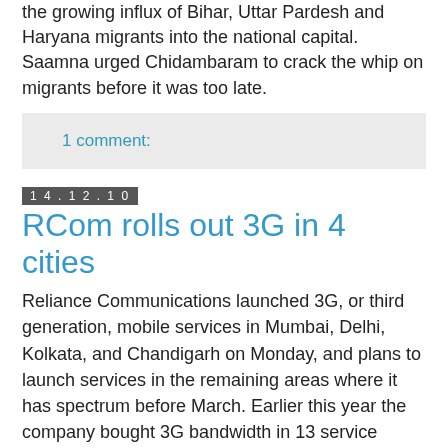the growing influx of Bihar, Uttar Pardesh and Haryana migrants into the national capital. Saamna urged Chidambaram to crack the whip on migrants before it was too late.
1 comment:
14.12.10
RCom rolls out 3G in 4 cities
Reliance Communications launched 3G, or third generation, mobile services in Mumbai, Delhi, Kolkata, and Chandigarh on Monday, and plans to launch services in the remaining areas where it has spectrum before March. Earlier this year the company bought 3G bandwidth in 13 service areas for 8,585 crore. The technology is expected to get customers hooked to using data services that are priced at better profitability than voice calls. “Our network will automatically migrate all 2G customers with 3G enabled handsets to the 3G network at no cost,” said Prashant Gokarn, head of 3G services at the company.